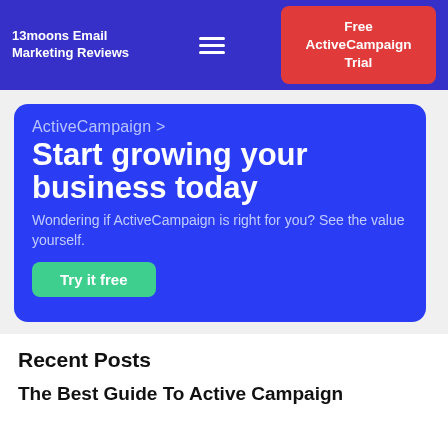13moons Email Marketing Reviews
[Figure (screenshot): ActiveCampaign advertisement banner with blue background showing 'ActiveCampaign >' brand name, headline 'Start growing your business today', subtext 'Wondering if ActiveCampaign is right for you? See the value yourself.', and a green 'Try it free' button]
Recent Posts
The Best Guide To Active Campaign